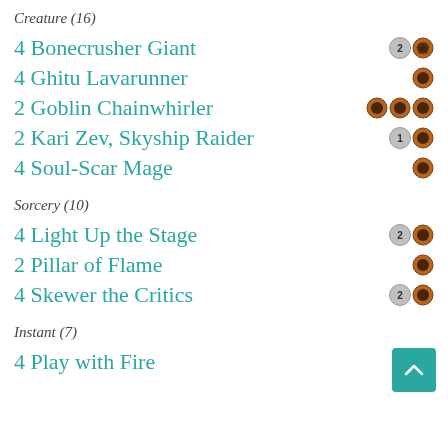Creature (16)
4 Bonecrusher Giant
4 Ghitu Lavarunner
2 Goblin Chainwhirler
2 Kari Zev, Skyship Raider
4 Soul-Scar Mage
Sorcery (10)
4 Light Up the Stage
2 Pillar of Flame
4 Skewer the Critics
Instant (7)
4 Play with Fire